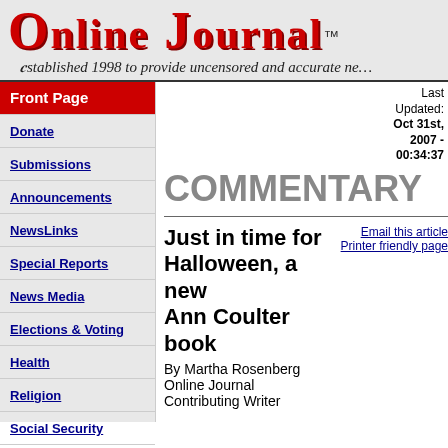Online Journal™
Established 1998 to provide uncensored and accurate ne
Front Page
Donate
Submissions
Announcements
NewsLinks
Special Reports
News Media
Elections & Voting
Health
Religion
Social Security
Analysis
Last Updated: Oct 31st, 2007 - 00:34:37
COMMENTARY
Just in time for Halloween, a new Ann Coulter book
Email this article
Printer friendly page
By Martha Rosenberg
Online Journal
Contributing Writer
Oct 31, 2007, 00:30
James Dewey Watson, the co-discoverer of DNA, recently resigned as chancellor of Long Island's Cold Spring Harbor Laboratory for making racially insensitive remarks. But don't expect Ann Coulter to step down from the